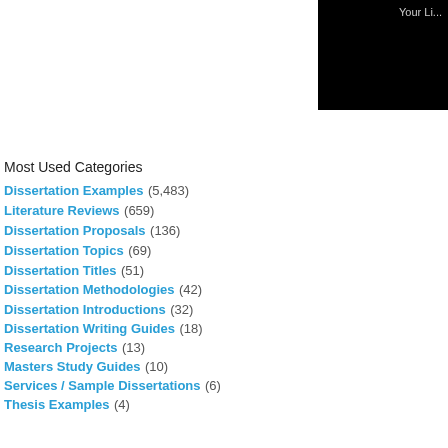[Figure (other): Black rectangle in top-right corner with partial gray text 'Your Li...']
Most Used Categories
Dissertation Examples (5,483)
Literature Reviews (659)
Dissertation Proposals (136)
Dissertation Topics (69)
Dissertation Titles (51)
Dissertation Methodologies (42)
Dissertation Introductions (32)
Dissertation Writing Guides (18)
Research Projects (13)
Masters Study Guides (10)
Services / Sample Dissertations (6)
Thesis Examples (4)
Recommendation
EssayHub's Community of Professional Tutors & Editors
Tutoring Service, EssayHub